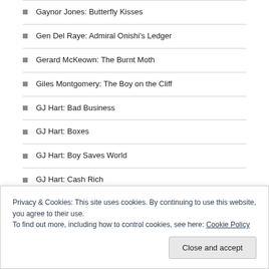Gaynor Jones: Butterfly Kisses
Gen Del Raye: Admiral Onishi's Ledger
Gerard McKeown: The Burnt Moth
Giles Montgomery: The Boy on the Cliff
GJ Hart: Bad Business
GJ Hart: Boxes
GJ Hart: Boy Saves World
GJ Hart: Cash Rich
GJ Hart: Cheesy Puffs
GJ Hart: Cold Islands
Privacy & Cookies: This site uses cookies. By continuing to use this website, you agree to their use. To find out more, including how to control cookies, see here: Cookie Policy